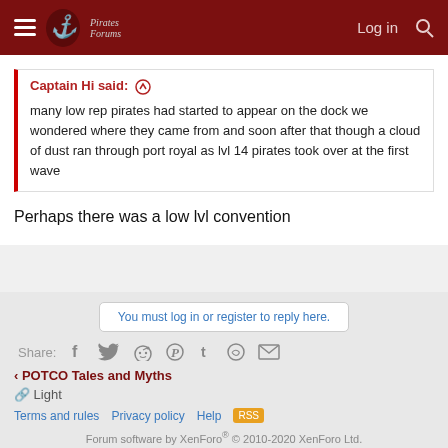Log in [search icon]
Captain Hi said: ↑
many low rep pirates had started to appear on the dock we wondered where they came from and soon after that though a cloud of dust ran through port royal as lvl 14 pirates took over at the first wave
Perhaps there was a low lvl convention
You must log in or register to reply here.
Share: [facebook] [twitter] [reddit] [pinterest] [tumblr] [whatsapp] [email]
< POTCO Tales and Myths
🔗 Light
Terms and rules   Privacy policy   Help   [RSS]
Forum software by XenForo® © 2010-2020 XenForo Ltd.
© 2010-2020 Pirates Forums